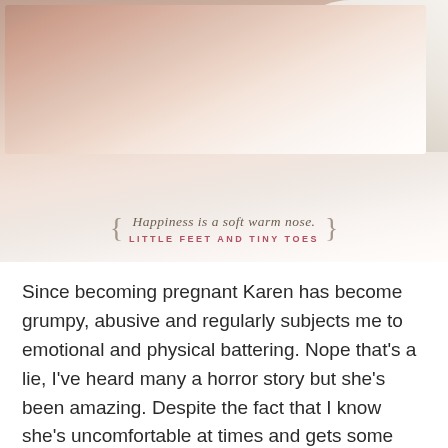[Figure (photo): Close-up photo of baby feet/toes on a soft white surface with a fluffy stuffed animal, overlaid with a decorative quote in curly braces: 'Happiness is a soft warm nose. LITTLE FEET AND TINY TOES']
Since becoming pregnant Karen has become grumpy, abusive and regularly subjects me to emotional and physical battering. Nope that's a lie, I've heard many a horror story but she's been amazing. Despite the fact that I know she's uncomfortable at times and gets some obviously